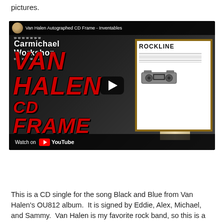pictures.
[Figure (screenshot): YouTube video thumbnail for 'Van Halen Autographed CD Frame - Inventables' by Carmichael Workshop. Shows bold red italic text reading VAN HALEN CD FRAME on a dark background with a framed music memorabilia item on the right. Includes a play button overlay and 'Watch on YouTube' bar at the bottom.]
This is a CD single for the song Black and Blue from Van Halen's OU812 album.  It is signed by Eddie, Alex, Michael, and Sammy.  Van Halen is my favorite rock band, so this is a